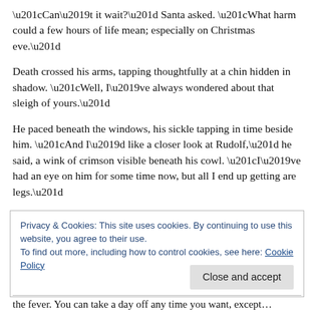“Can’t it wait?” Santa asked. “What harm could a few hours of life mean; especially on Christmas eve.”
Death crossed his arms, tapping thoughtfully at a chin hidden in shadow. “Well, I’ve always wondered about that sleigh of yours.”
He paced beneath the windows, his sickle tapping in time beside him. “And I’d like a closer look at Rudolf,” he said, a wink of crimson visible beneath his cowl. “I’ve had an eye on him for some time now, but all I end up getting are legs.”
“So it’s a deal?” Santa asked.
Privacy & Cookies: This site uses cookies. By continuing to use this website, you agree to their use.
To find out more, including how to control cookies, see here: Cookie Policy
the fever. You can take a day off any time you want, except…